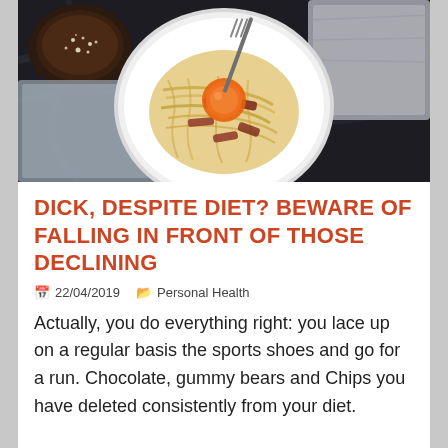[Figure (photo): Overhead photo of a plate of pasta carbonara with egg yolk, bacon, on a dark marble surface with a bowl of parmesan and a grey cloth napkin]
DICK, DESPITE DIET? BEWARE OF FALLING IN FRONT OF THOSE DECLINING
📅 22/04/2019   🗂 Personal Health
Actually, you do everything right: you lace up on a regular basis the sports shoes and go for a run. Chocolate, gummy bears and Chips you have deleted consistently from your diet.